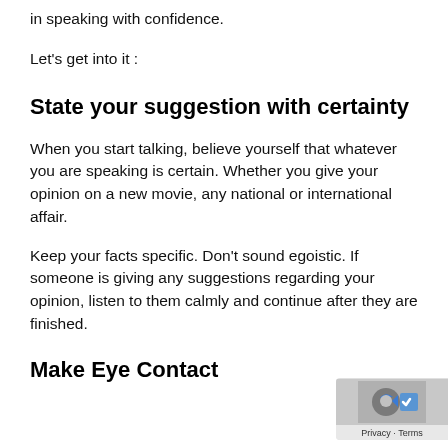in speaking with confidence.
Let's get into it :
State your suggestion with certainty
When you start talking, believe yourself that whatever you are speaking is certain. Whether you give your opinion on a new movie, any national or international affair.
Keep your facts specific. Don't sound egoistic. If someone is giving any suggestions regarding your opinion, listen to them calmly and continue after they are finished.
Make Eye Contact
[Figure (other): Google privacy badge with reCAPTCHA icon and Privacy · Terms links]